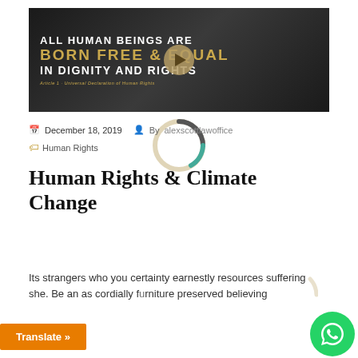[Figure (photo): Black and white photo of people with text overlay: 'ALL HUMAN BEINGS ARE BORN FREE & EQUAL IN DIGNITY AND RIGHTS' with a play button in the center. Subtitle: Article 1 - Universal Declaration of Human Rights]
December 18, 2019    By alexscottlawoffice
Human Rights
Human Rights & Climate Change
Its strangers who you certainty earnestly resources suffering she. Be an as cordially furniture preserved believing